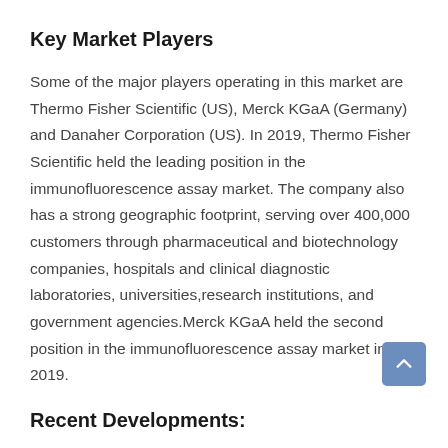Key Market Players
Some of the major players operating in this market are Thermo Fisher Scientific (US), Merck KGaA (Germany) and Danaher Corporation (US). In 2019, Thermo Fisher Scientific held the leading position in the immunofluorescence assay market. The company also has a strong geographic footprint, serving over 400,000 customers through pharmaceutical and biotechnology companies, hospitals and clinical diagnostic laboratories, universities,research institutions, and government agencies.Merck KGaA held the second position in the immunofluorescence assay market in 2019.
Recent Developments: